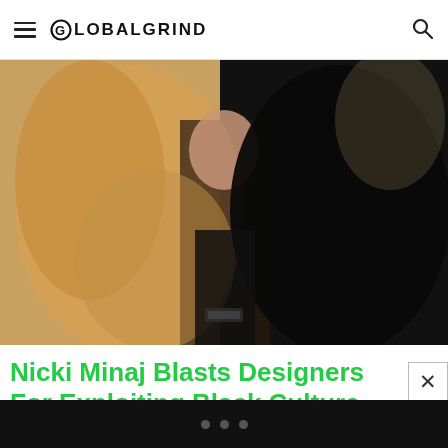GLOBALGRIND
[Figure (photo): Close-up photo of a woman wearing a fur coat, showing tan/blonde fur on the left side and dark black hair/fur on the right side, with a dark top visible in the center]
Nicki Minaj Blasts Designers For Exploiting Black Culture